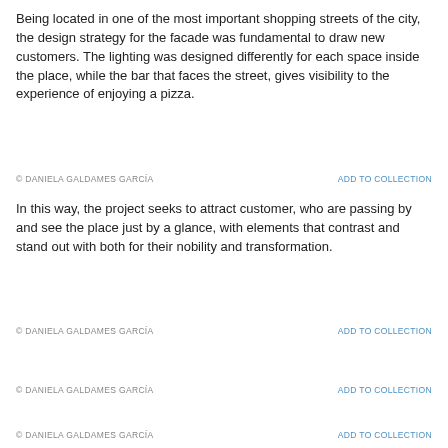Being located in one of the most important shopping streets of the city, the design strategy for the facade was fundamental to draw new customers. The lighting was designed differently for each space inside the place, while the bar that faces the street, gives visibility to the experience of enjoying a pizza.
© DANIELA GALDAMES GARCÍA    ADD TO COLLECTION
In this way, the project seeks to attract customer, who are passing by and see the place just by a glance, with elements that contrast and stand out with both for their nobility and transformation.
© DANIELA GALDAMES GARCÍA    ADD TO COLLECTION
© DANIELA GALDAMES GARCÍA    ADD TO COLLECTION
© DANIELA GALDAMES GARCÍA    ADD TO COLLECTION